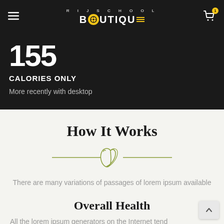RIJSCHOOL BOUTIQUE
155
CALORIES ONLY
More recently with desktop
How It Works
There are many variations of passages of lorem ipsum available
Overall Health
All the lorem ipsum generators on the Internet tend